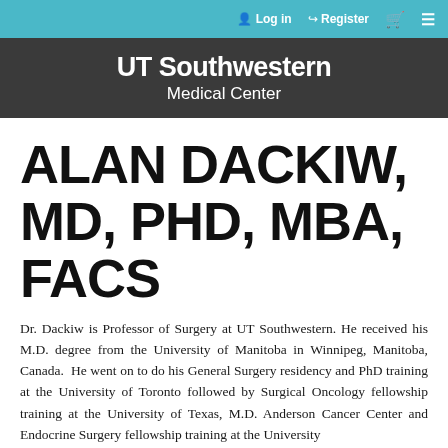Log in   Register
[Figure (logo): UT Southwestern Medical Center logo on dark grey background]
ALAN DACKIW, MD, PHD, MBA, FACS
Dr. Dackiw is Professor of Surgery at UT Southwestern. He received his M.D. degree from the University of Manitoba in Winnipeg, Manitoba, Canada.  He went on to do his General Surgery residency and PhD training at the University of Toronto followed by Surgical Oncology fellowship training at the University of Texas, M.D. Anderson Cancer Center and Endocrine Surgery fellowship training at the University